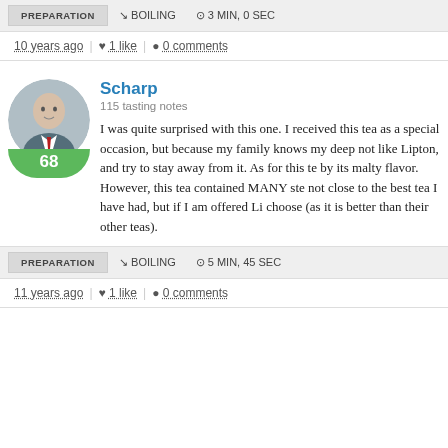PREPARATION | ↓ BOILING | ⊙ 3 MIN, 0 SEC
10 years ago | ♥ 1 like | ● 0 comments
Scharp
115 tasting notes
I was quite surprised with this one. I received this tea as a special occasion, but because my family knows my deep not like Lipton, and try to stay away from it. As for this te by its malty flavor. However, this tea contained MANY ste not close to the best tea I have had, but if I am offered Li choose (as it is better than their other teas).
PREPARATION | ↓ BOILING | ⊙ 5 MIN, 45 SEC
11 years ago | ♥ 1 like | ● 0 comments